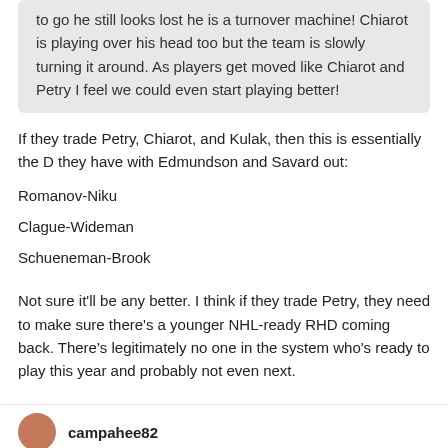to go he still looks lost he is a turnover machine! Chiarot is playing over his head too but the team is slowly turning it around. As players get moved like Chiarot and Petry I feel we could even start playing better!
If they trade Petry, Chiarot, and Kulak, then this is essentially the D they have with Edmundson and Savard out:
Romanov-Niku
Clague-Wideman
Schueneman-Brook
Not sure it'll be any better. I think if they trade Petry, they need to make sure there's a younger NHL-ready RHD coming back. There's legitimately no one in the system who's ready to play this year and probably not even next.
campahee82